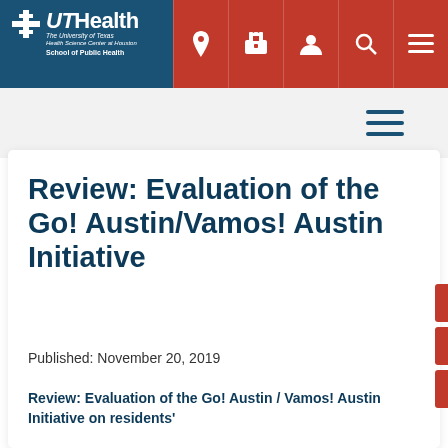[Figure (logo): UTHealth - The University of Texas Health Science Center at Houston, School of Public Health logo in white on dark blue header]
UTHealth — The University of Texas Health Science Center at Houston, School of Public Health
Review: Evaluation of the Go! Austin/Vamos! Austin Initiative
Published: November 20, 2019
Review: Evaluation of the Go! Austin / Vamos! Austin Initiative on residents'